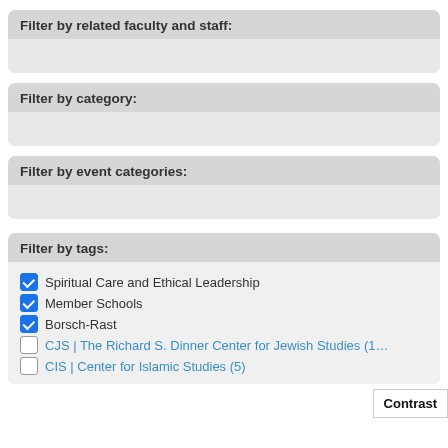Filter by related faculty and staff:
Filter by category:
Filter by event categories:
Filter by tags:
Spiritual Care and Ethical Leadership (checked)
Member Schools (checked)
Borsch-Rast (checked)
CJS | The Richard S. Dinner Center for Jewish Studies (1…)
CIS | Center for Islamic Studies (5)
Contrast